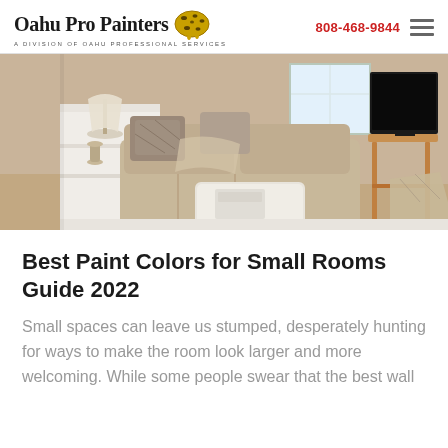Oahu Pro Painters | A Division of Oahu Professional Services | 808-468-9844
[Figure (photo): Interior photo of a small living room with neutral beige/tan tones, a large sectional sofa with decorative pillows, a white ottoman as coffee table, a wooden side table with a TV, and a white shelving unit on the left. Natural light comes from a window in the background.]
Best Paint Colors for Small Rooms Guide 2022
Small spaces can leave us stumped, desperately hunting for ways to make the room look larger and more welcoming. While some people swear that the best wall